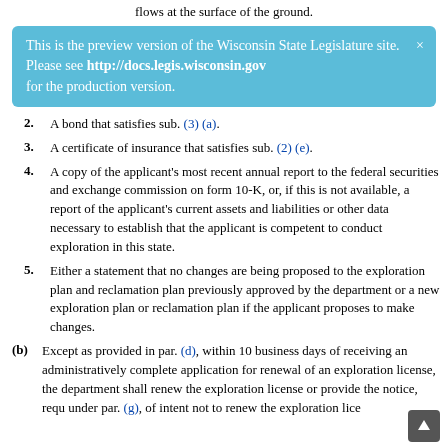flows at the surface of the ground.
This is the preview version of the Wisconsin State Legislature site. Please see http://docs.legis.wisconsin.gov for the production version.
2. A bond that satisfies sub. (3) (a).
3. A certificate of insurance that satisfies sub. (2) (e).
4. A copy of the applicant's most recent annual report to the federal securities and exchange commission on form 10-K, or, if this is not available, a report of the applicant's current assets and liabilities or other data necessary to establish that the applicant is competent to conduct exploration in this state.
5. Either a statement that no changes are being proposed to the exploration plan and reclamation plan previously approved by the department or a new exploration plan or reclamation plan if the applicant proposes to make changes.
(b) Except as provided in par. (d), within 10 business days of receiving an administratively complete application for renewal of an exploration license, the department shall renew the exploration license or provide the notice, required under par. (g), of intent not to renew the exploration license